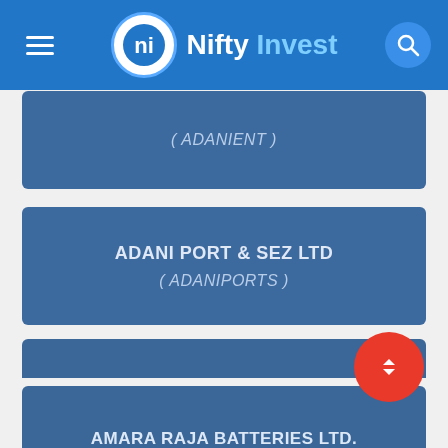Nifty Invest
( ADANIENT )
ADANI PORT & SEZ LTD
( ADANIPORTS )
ALKEM LABORATORIES LTD.
( ALKEM )
AMARA RAJA BATTERIES LTD.
( AMARAJABAT )